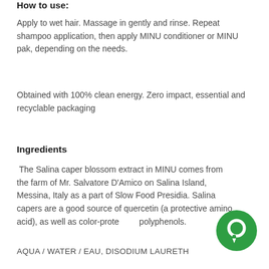How to use:
Apply to wet hair. Massage in gently and rinse. Repeat shampoo application, then apply MINU conditioner or MINU pak, depending on the needs.
Obtained with 100% clean energy. Zero impact, essential and recyclable packaging
Ingredients
The Salina caper blossom extract in MINU comes from the farm of Mr. Salvatore D'Amico on Salina Island, Messina, Italy as a part of Slow Food Presidia. Salina capers are a good source of quercetin (a protective amino acid), as well as color-protecting polyphenols.
AQUA / WATER / EAU, DISODIUM LAURETH
[Figure (illustration): Green circular chat/message icon button in the bottom right corner]